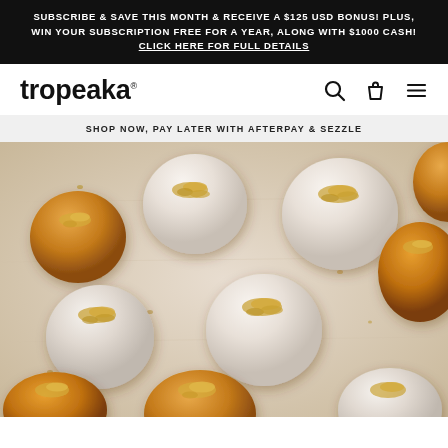SUBSCRIBE & SAVE THIS MONTH & RECEIVE A $125 USD BONUS! PLUS, WIN YOUR SUBSCRIPTION FREE FOR A YEAR, ALONG WITH $1000 CASH! CLICK HERE FOR FULL DETAILS
[Figure (logo): Tropeaka brand logo in bold black lowercase text]
SHOP NOW, PAY LATER WITH AFTERPAY & SEZZLE
[Figure (photo): Overhead close-up photo of protein bliss balls — some rolled in powdered sugar/coconut, some golden-brown — topped with crushed nuts, arranged on a light marble/stone surface with scattered nut crumbs]